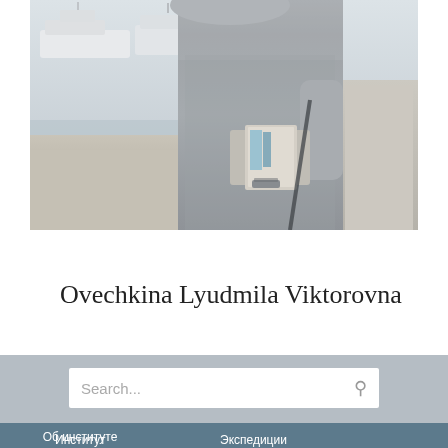[Figure (photo): A person in a gray sweater standing at a marina/harbor with boats and yachts in the background, holding what appears to be papers or a magazine]
Ovechkina Lyudmila Viktorovna
Search...
Об институте
Институт
Экспедиции